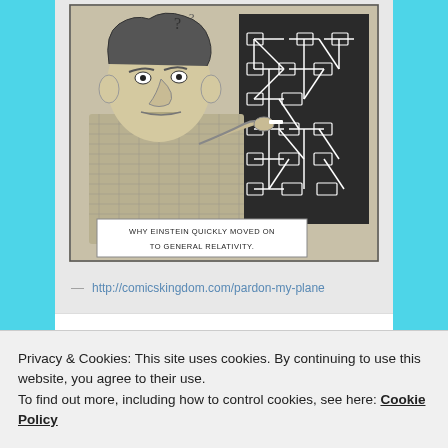[Figure (illustration): A cartoon/comic strip showing a caricature of Einstein writing on a blackboard filled with a complex network diagram. The caption on the cartoon reads: WHY EINSTEIN QUICKLY MOVED ON TO GENERAL RELATIVITY.]
— http://comicskingdom.com/pardon-my-plane
Signature Composites
Privacy & Cookies: This site uses cookies. By continuing to use this website, you agree to their use.
To find out more, including how to control cookies, see here: Cookie Policy